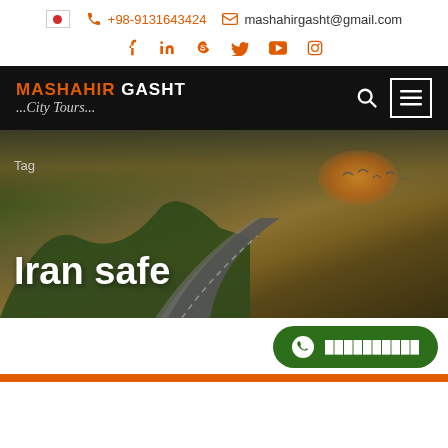+98-9131643424  mashahirgasht@gmail.com
[Figure (screenshot): Social media icons row: Facebook, LinkedIn, Skype, Twitter, YouTube, Instagram - all in orange]
[Figure (logo): Mashahir Gasht ...City Tours... logo on black navigation bar with search and menu icons]
[Figure (photo): Hero banner showing a winding road at sunset with hills and dramatic sky. Tag label reads 'Tag' and large white title reads 'Iran safe']
[Figure (other): WhatsApp button (green pill shape) with WhatsApp icon and Persian text on the right side of the hero area]